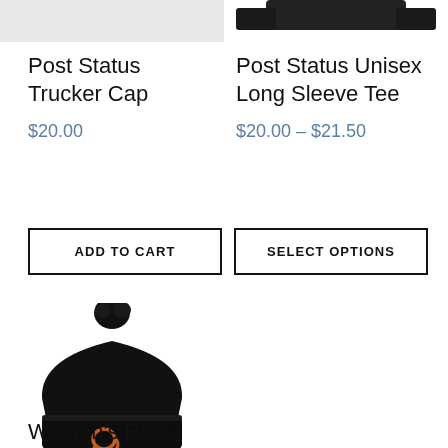[Figure (photo): Top portion of a light gray product image for Post Status Trucker Cap]
[Figure (photo): Top portion of a dark folded long sleeve tee product image]
Post Status Trucker Cap
Post Status Unisex Long Sleeve Tee
$20.00
$20.00 – $21.50
ADD TO CART
SELECT OPTIONS
[Figure (photo): Black pom beanie hat with orange Post Status logo embroidered on the cuff]
Women's Post